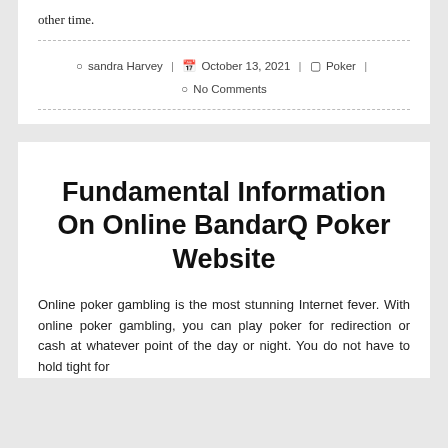other time.
sandra Harvey | October 13, 2021 | Poker | No Comments
Fundamental Information On Online BandarQ Poker Website
Online poker gambling is the most stunning Internet fever. With online poker gambling, you can play poker for redirection or cash at whatever point of the day or night. You do not have to hold tight for